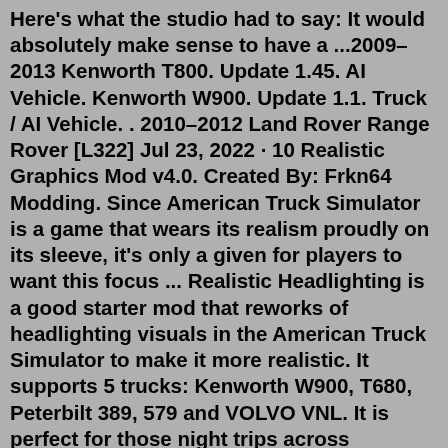Here's what the studio had to say: It would absolutely make sense to have a ...2009–2013 Kenworth T800. Update 1.45. AI Vehicle. Kenworth W900. Update 1.1. Truck / AI Vehicle. . 2010–2012 Land Rover Range Rover [L322] Jul 23, 2022 · 10 Realistic Graphics Mod v4.0. Created By: Frkn64 Modding. Since American Truck Simulator is a game that wears its realism proudly on its sleeve, it's only a given for players to want this focus ... Realistic Headlighting is a good starter mod that reworks of headlighting visuals in the American Truck Simulator to make it more realistic. It supports 5 trucks: Kenworth W900, T680, Peterbilt 389, 579 and VOLVO VNL. It is perfect for those night trips across America. Smarty's Wheel Pack2009-2013 Kenworth T800. Update 1.45. AI Vehicle. Kenworth W900. Update 1.1. Truck / AI Vehicle. . 2010-2012 Land Rover Range Rover [L322]Latest mods for American truck simulator, ats mods. Fast and free download without any delays and annoying ads. Find the best mods for your game. Jul 23, 2022 · 10 Realistic Graphics Mod 4.0. Created B...